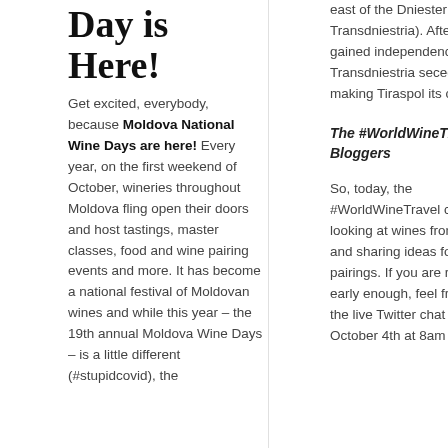Day is Here!
Get excited, everybody, because Moldova National Wine Days are here! Every year, on the first weekend of October, wineries throughout Moldova fling open their doors and host tastings, master classes, food and wine pairing events and more. It has become a national festival of Moldovan wines and while this year – the 19th annual Moldova Wine Days – is a little different (#stupidcovid), the
east of the Dniester (known as Transdniestria). After Moldova gained independence in 1991, Transdniestria seceded, making Tiraspol its capital.
The #WorldWineTravel Bloggers
So, today, the #WorldWineTravel crew is looking at wines from Moldova and sharing ideas for food pairings. If you are reading this early enough, feel free to join the live Twitter chat on Sunday, October 4th at 8am